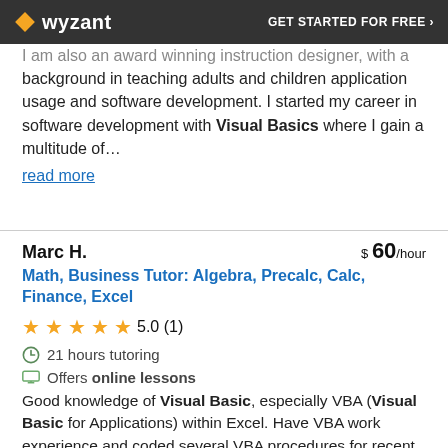Wyzant | GET STARTED FOR FREE ›
I am also an award winning instruction designer, with a background in teaching adults and children application usage and software development. I started my career in software development with Visual Basics where I gain a multitude of…
read more
Marc H.   $ 60/hour
Math, Business Tutor: Algebra, Precalc, Calc, Finance, Excel
★★★★★ 5.0 (1)
⏱ 21 hours tutoring
🖥 Offers online lessons
Good knowledge of Visual Basic, especially VBA (Visual Basic for Applications) within Excel. Have VBA work experience and coded several VBA procedures for recent graduate school academic research. Own 5 books on VBA programming…. read